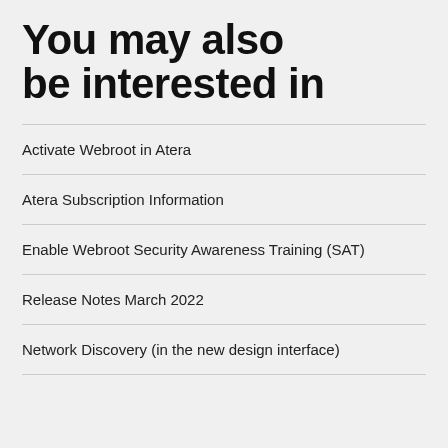You may also be interested in
Activate Webroot in Atera
Atera Subscription Information
Enable Webroot Security Awareness Training (SAT)
Release Notes March 2022
Network Discovery (in the new design interface)